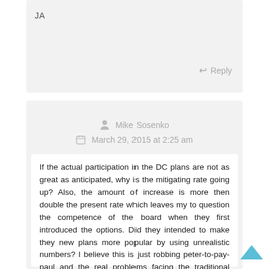JA
Reply
Mike Sosenko
March 29, 2015 at 2:25 am
If the actual participation in the DC plans are not as great as anticipated, why is the mitigating rate going up? Also, the amount of increase is more then double the present rate which leaves my to question the competence of the board when they first introduced the options. Did they intended to make they new plans more popular by using unrealistic numbers? I believe this is just robbing peter-to-pay-paul and the real problems facing the traditional plans and OPERS are still there.